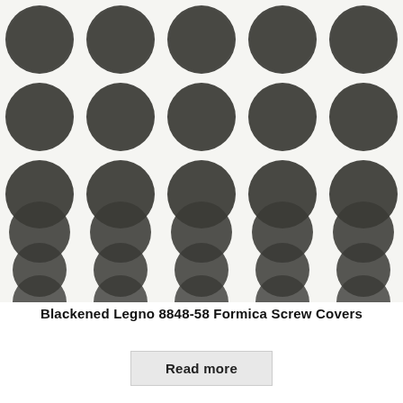[Figure (photo): A grid of 30 dark gray/black circular screw cover caps arranged in 6 rows and 5 columns on a white/off-white background. The circles are large and slightly blurred, resembling Formica screw covers in Blackened Legno 8848-58 color.]
Blackened Legno 8848-58 Formica Screw Covers
Read more